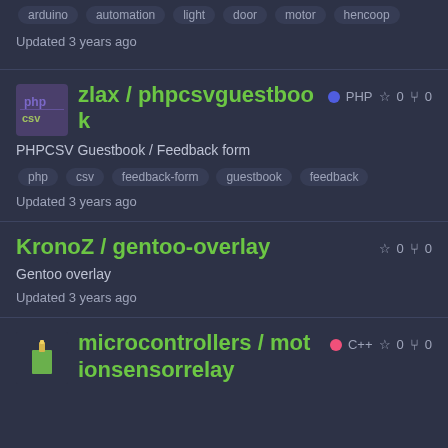arduino  automation  light  door  motor  hencoop
Updated 3 years ago
zlax / phpcsvguestbook
PHP  ☆ 0  ⑂ 0
PHPCSV Guestbook / Feedback form
php  csv  feedback-form  guestbook  feedback
Updated 3 years ago
KronoZ / gentoo-overlay
☆ 0  ⑂ 0
Gentoo overlay
Updated 3 years ago
microcontrollers / motionsensorrelay
C++  ☆ 0  ⑂ 0